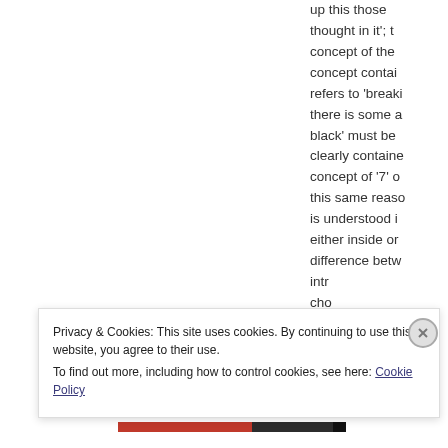up this those thought in it'; the concept of the concept contains refers to 'breaking there is some a black' must be clearly contained concept of '7' or this same reason is understood i either inside or difference betw intr cho
Privacy & Cookies: This site uses cookies. By continuing to use this website, you agree to their use.
To find out more, including how to control cookies, see here: Cookie Policy
Close and accept